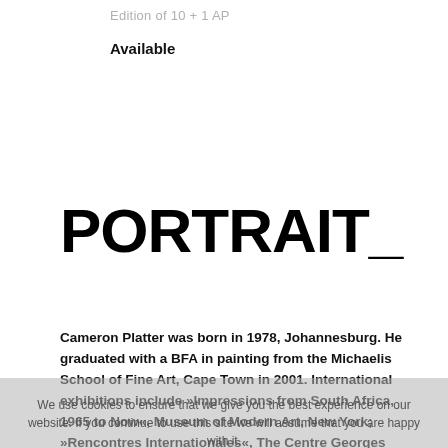Edition of 10 + 1 AP
Available
PORTRAIT_
Cameron Platter was born in 1978, Johannesburg. He graduated with a BFA in painting from the Michaelis School of Fine Art, Cape Town in 2001. International exhibitions include »Impressions from South Africa, 1965 to Now«, Museum of Modern Art, New York; »Rencontres Internationales«, The Centre Georges Pompidou Paris; the Biennale de Dakar 2010, Dakar, Senegal. He makes stories, pictures, and objects
We use cookies to ensure that we give you the best experience on our website. If you continue to use this site we will assume that you are happy with it.